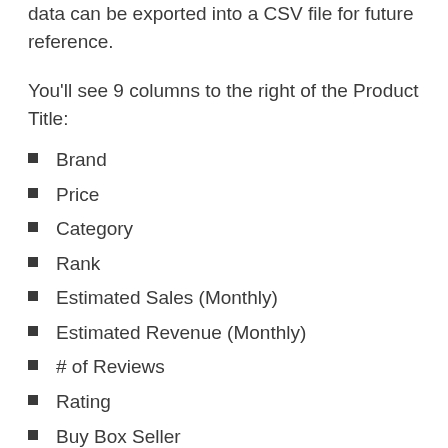data can be exported into a CSV file for future reference.
You'll see 9 columns to the right of the Product Title:
Brand
Price
Category
Rank
Estimated Sales (Monthly)
Estimated Revenue (Monthly)
# of Reviews
Rating
Buy Box Seller
While this gives you most of the basic